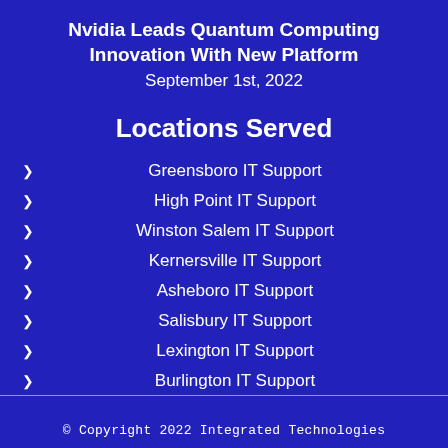Nvidia Leads Quantum Computing Innovation With New Platform
September 1st, 2022
Locations Served
Greensboro IT Support
High Point IT Support
Winston Salem IT Support
Kernersville IT Support
Asheboro IT Support
Salisbury IT Support
Lexington IT Support
Burlington IT Support
© Copyright 2022 Integrated Technologies